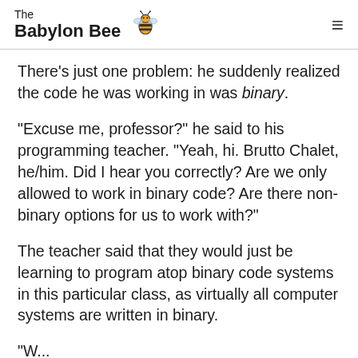The Babylon Bee
There's just one problem: he suddenly realized the code he was working in was binary.
"Excuse me, professor?" he said to his programming teacher. "Yeah, hi. Brutto Chalet, he/him. Did I hear you correctly? Are we only allowed to work in binary code? Are there non-binary options for us to work with?"
The teacher said that they would just be learning to program atop binary code systems in this particular class, as virtually all computer systems are written in binary.
"W...